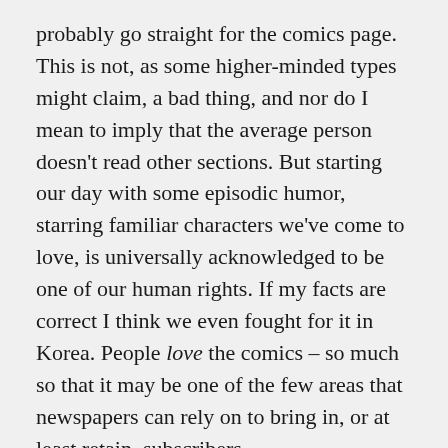probably go straight for the comics page. This is not, as some higher-minded types might claim, a bad thing, and nor do I mean to imply that the average person doesn't read other sections. But starting our day with some episodic humor, starring familiar characters we've come to love, is universally acknowledged to be one of our human rights. If my facts are correct I think we even fought for it in Korea. People love the comics – so much so that it may be one of the few areas that newspapers can rely on to bring in, or at least retain, subscribers.

Which is why I find myself going insane – insane! – over the state of the comics page today.  It seems like editors are doing their best to screw this section up just to keep pace with the rest of their failing content. The sad reality is that there is very